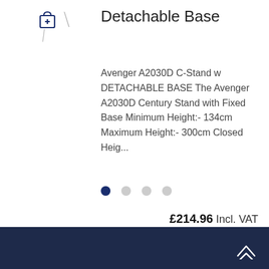[Figure (other): Shopping cart icon with plus sign, dark blue outline style]
Detachable Base
Avenger A2030D C-Stand w DETACHABLE BASE The Avenger A2030D Century Stand with Fixed Base Minimum Height:- 134cm Maximum Height:- 300cm Closed Heig...
£214.96 Incl. VAT £179.13 Excl. VAT
[Figure (other): Pagination dots: four circles, first one filled dark blue (active), remaining three grey]